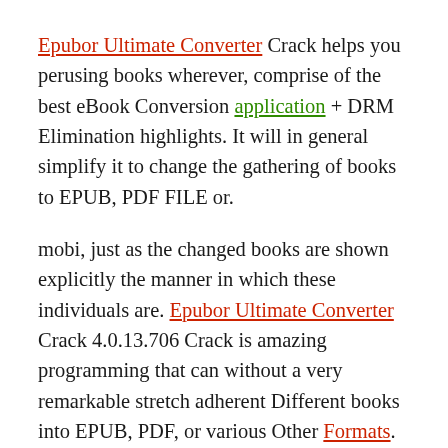Epubor Ultimate Converter Crack helps you perusing books wherever, comprise of the best eBook Conversion application + DRM Elimination highlights. It will in general simplify it to change the gathering of books to EPUB, PDF FILE or.
mobi, just as the changed books are shown explicitly the manner in which these individuals are. Epubor Ultimate Converter Crack 4.0.13.706 Crack is amazing programming that can without a very remarkable stretch adherent Different books into EPUB, PDF, or various Other Formats.